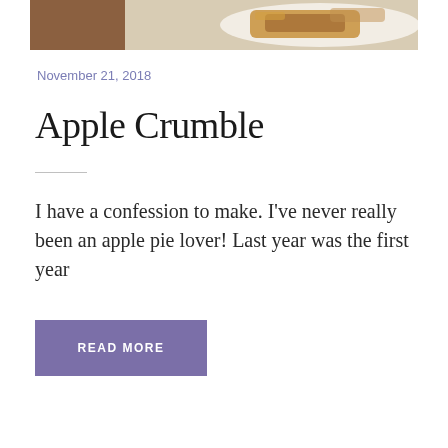[Figure (photo): Top portion of a food photo showing apple crumble on a white plate against a wooden background]
November 21, 2018
Apple Crumble
I have a confession to make. I’ve never really been an apple pie lover! Last year was the first year
READ MORE